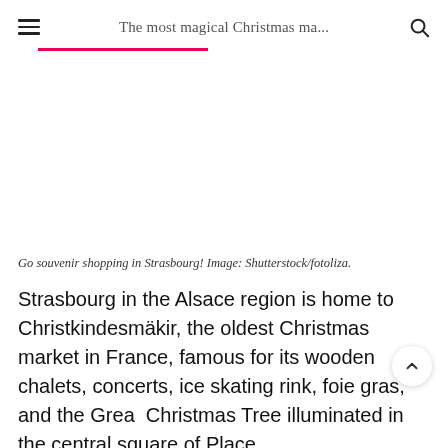The most magical Christmas ma...
[Figure (photo): Photo placeholder area for Strasbourg Christmas market souvenir shopping image]
Go souvenir shopping in Strasbourg! Image: Shutterstock/fotoliza.
Strasbourg in the Alsace region is home to Christkindesmäkir, the oldest Christmas market in France, famous for its wooden chalets, concerts, ice skating rink, foie gras, and the Great Christmas Tree illuminated in the central square of Place